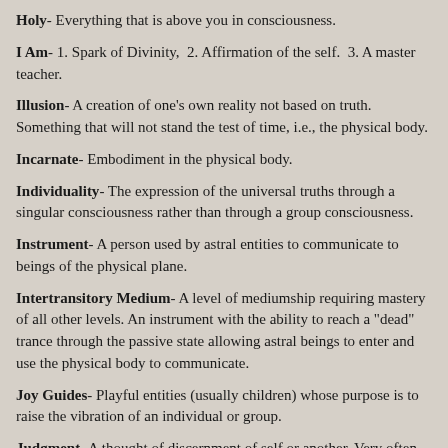Holy- Everything that is above you in consciousness.
I Am- 1. Spark of Divinity,  2. Affirmation of the self.  3. A master teacher.
Illusion- A creation of one's own reality not based on truth. Something that will not stand the test of time, i.e., the physical body.
Incarnate- Embodiment in the physical body.
Individuality- The expression of the universal truths through a singular consciousness rather than through a group consciousness.
Instrument- A person used by astral entities to communicate to beings of the physical plane.
Intertransitory Medium- A level of mediumship requiring mastery of all other levels. An instrument with the ability to reach a "dead" trance through the passive state allowing astral beings to enter and use the physical body to communicate.
Joy Guides- Playful entities (usually children) whose purpose is to raise the vibration of an individual or group.
Judgment- A thought of discernment of self or another. Very often